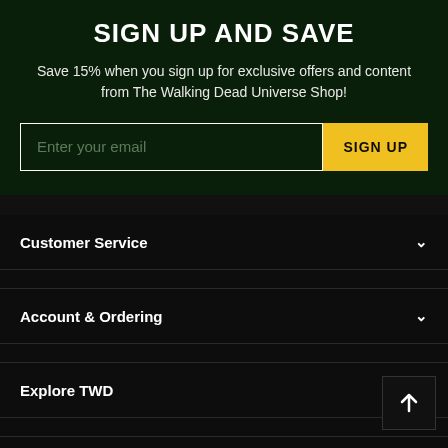SIGN UP AND SAVE
Save 15% when you sign up for exclusive offers and content from The Walking Dead Universe Shop!
Enter your email | SIGN UP
Customer Service
Account & Ordering
Explore TWD
Sign Up And Save